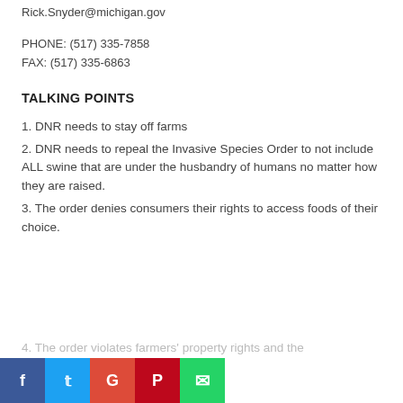Rick.Snyder@michigan.gov
PHONE: (517) 335-7858
FAX: (517) 335-6863
TALKING POINTS
1. DNR needs to stay off farms
2. DNR needs to repeal the Invasive Species Order to not include ALL swine that are under the husbandry of humans no matter how they are raised.
3. The order denies consumers their rights to access foods of their choice.
4. The order violates farmers' property rights and the